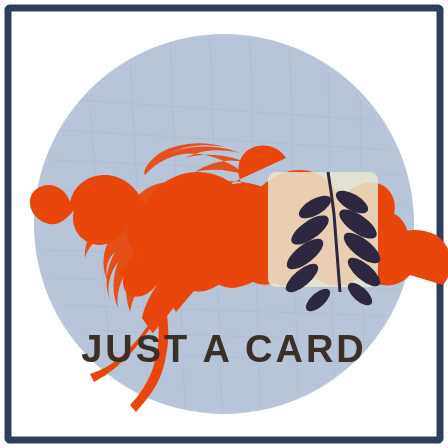[Figure (logo): Just A Card logo: a light blue circle with a rough linen texture background. Inside, an orange/red stylized bird (swallow) silhouette on the left, and a dark navy botanical leaf/branch illustration on a cream colored rectangular patch on the right. Below the illustrations, bold distressed uppercase text reads JUST A CARD in dark charcoal/brown. The circle is set on a white background with a thin dark navy square border frame.]